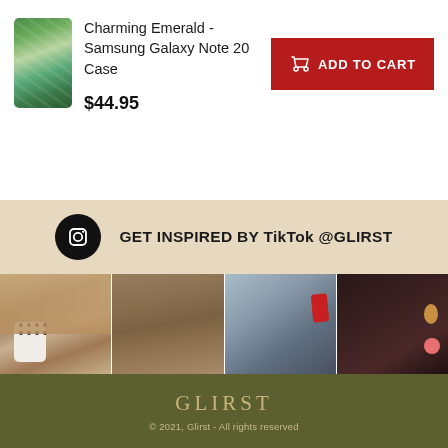[Figure (photo): Charming Emerald Samsung Galaxy Note 20 Case product thumbnail with green marble pattern]
Charming Emerald - Samsung Galaxy Note 20 Case
$44.95
ADD TO CART
GET INSPIRED BY TikTok @GLIRST
[Figure (photo): Four photo grid: woman holding polka dot keychain, woman with blue patterned phone case, woman holding red phone case, close-up of woman with gold earring and pink case]
GLIRST
© 2021, Glirst - All rights reserved